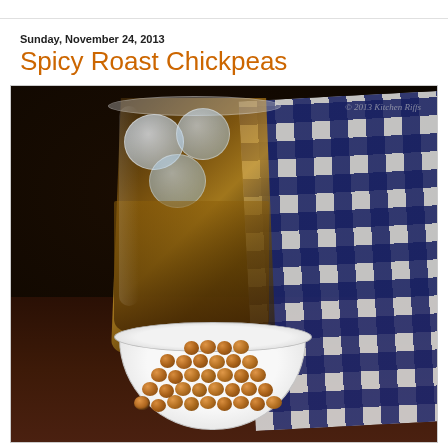Sunday, November 24, 2013
Spicy Roast Chickpeas
[Figure (photo): A tumbler glass with whiskey and ice cubes on a dark wooden table, next to a white bowl filled with spicy roast chickpeas. A blue and white checkered cloth napkin is in the background. Watermark reads: © 2013 Kitchen Riffs]